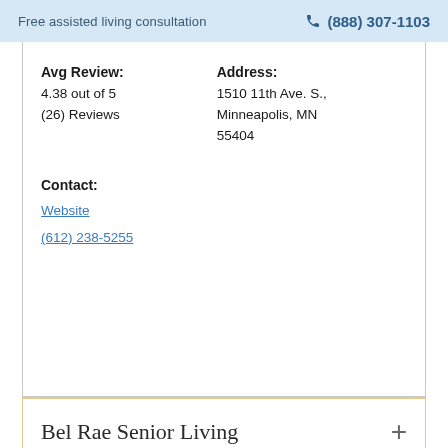Free assisted living consultation  ☎ (888) 307-1103
Avg Review:
4.38 out of 5
(26) Reviews
Address:
1510 11th Ave. S.,
Minneapolis, MN
55404
Contact:
Website
(612) 238-5255
Bel Rae Senior Living
Brightondale Senior